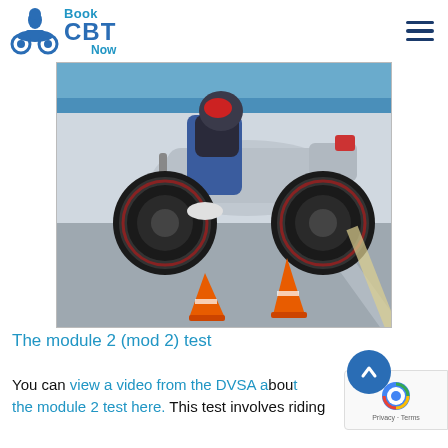Book CBT Now
[Figure (photo): A motorcyclist riding a silver motorcycle on a test/training ground, with orange traffic cones visible on the asphalt surface.]
The module 2 (mod 2) test
You can view a video from the DVSA about the module 2 test here. This test involves riding